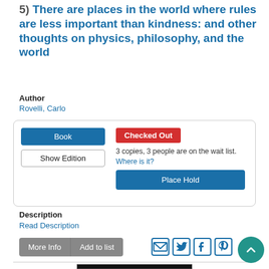5) There are places in the world where rules are less important than kindness: and other thoughts on physics, philosophy, and the world
Author
Rovelli, Carlo
Book
Show Edition
Checked Out
3 copies, 3 people are on the wait list.
Where is it?
Place Hold
Description
Read Description
More Info
Add to list
[Figure (screenshot): Book cover for a DK science book, black background with scientific illustrations]